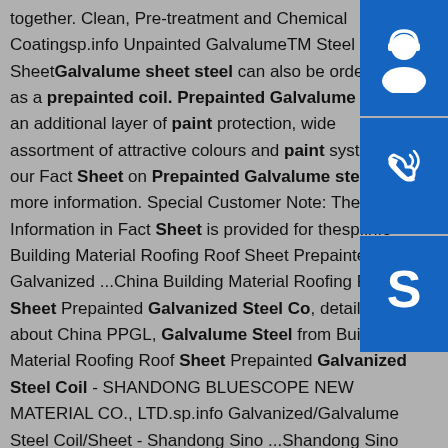together. Clean, Pre-treatment and Chemical Coatingsp.info Unpainted GalvalumeTM Steel Fact Sheet Galvalume sheet steel can also be ordered as a prepainted coil. Prepainted Galvalume offers an additional layer of paint protection, wide assortment of attractive colours and paint systems, our Fact Sheet on Prepainted Galvalume steel for more information. Special Customer Note: The Information in Fact Sheet is provided for thesp.info Building Material Roofing Roof Sheet Prepainted Galvanized ...China Building Material Roofing Roof Sheet Prepainted Galvanized Steel Coil details about China PPGL, Galvalume Steel from Building Material Roofing Roof Sheet Prepainted Galvanized Steel Coil - SHANDONG BLUESCOPE NEW MATERIAL CO., LTD.sp.info Galvanized/Galvalume Steel Coil/Sheet - Shandong Sino ...Shandong Sino Steel Co., Ltd was one large Steel Holding Company, a principal of fabricated steel of
[Figure (illustration): Three blue square buttons on the right sidebar: top has a customer support/headset icon, middle has a phone/call icon with signal waves, bottom has a Skype logo icon.]